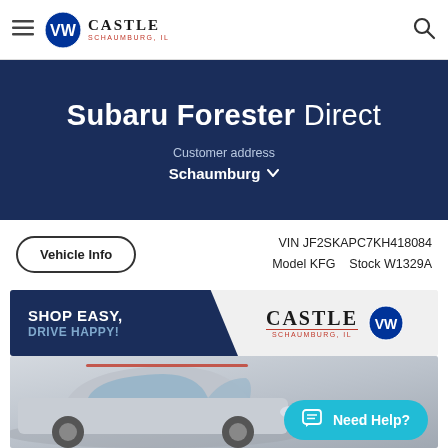Castle Volkswagen Schaumburg IL — Navigation header with hamburger menu and search icon
Subaru Forester Direct
Customer address
Schaumburg
Vehicle Info  VIN JF2SKAPC7KH418084  Model KFG  Stock W1329A
[Figure (photo): Castle Volkswagen dealer banner: 'SHOP EASY, DRIVE HAPPY!' on dark blue left panel, Castle Schaumburg IL logo and VW emblem on right]
[Figure (photo): Silver Subaru Forester SUV, front three-quarter view, with 'Need Help?' chat button overlay]